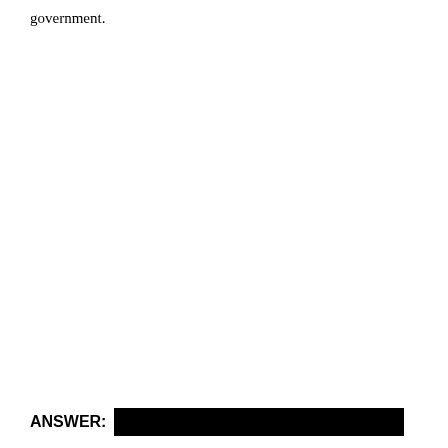government.
ANSWER: [REDACTED]